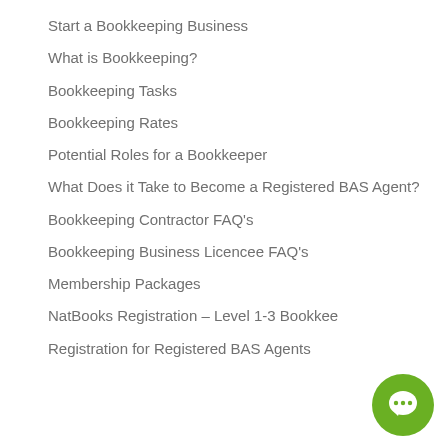Start a Bookkeeping Business
What is Bookkeeping?
Bookkeeping Tasks
Bookkeeping Rates
Potential Roles for a Bookkeeper
What Does it Take to Become a Registered BAS Agent?
Bookkeeping Contractor FAQ's
Bookkeeping Business Licencee FAQ's
Membership Packages
NatBooks Registration – Level 1-3 Bookkee…
Registration for Registered BAS Agents
[Figure (illustration): Green circular chat bubble icon in bottom right corner]